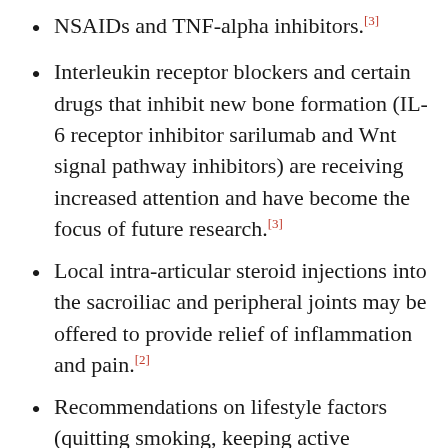NSAIDs and TNF-alpha inhibitors.[3]
Interleukin receptor blockers and certain drugs that inhibit new bone formation (IL-6 receptor inhibitor sarilumab and Wnt signal pathway inhibitors) are receiving increased attention and have become the focus of future research.[3]
Local intra-articular steroid injections into the sacroiliac and peripheral joints may be offered to provide relief of inflammation and pain.[2]
Recommendations on lifestyle factors (quitting smoking, keeping active